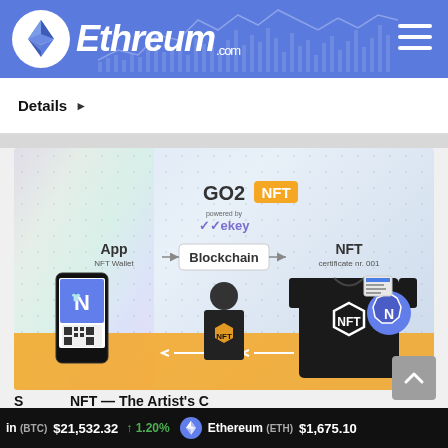[Figure (logo): Ethreum.com website header with Ethereum logo (blue circle with diamond/ETH shape) and site name in white italic text on blue background with faint chart graphics]
Details ▶
[Figure (infographic): GO2NFT powered by ekey infographic showing App (NFT Wallet) → Blockchain → NFT (certificate nr. 001) flow with person wearing NFT t-shirt, smartphone with N app, and t-shirt with NFT hexagon logo]
in (BTC)  $21,532.32  ↑ 1.20%     Ethereum (ETH)  $1,675.10